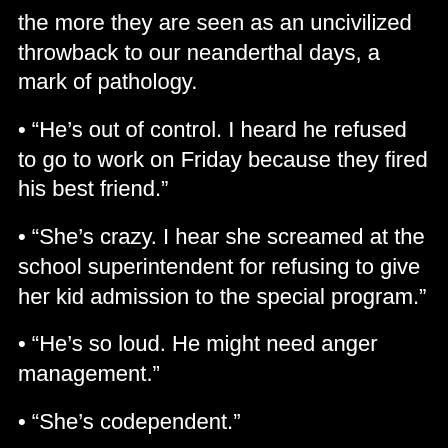the more they are seen as an uncivilized throwback to our neanderthal days, a mark of pathology.
• “He’s out of control. I heard he refused to go to work on Friday because they fired his best friend.”
• “She’s crazy. I hear she screamed at the school superintendent for refusing to give her kid admission to the special program.”
• “He’s so loud. He might need anger management.”
• “She’s codependent.”
• “He’s always moody. I think he must